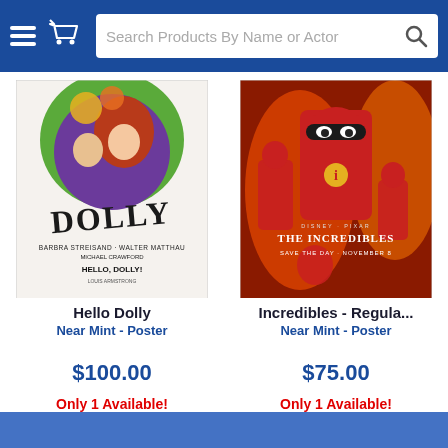Search Products By Name or Actor
[Figure (photo): Hello Dolly movie poster showing Barbra Streisand and Walter Matthau with colorful illustrated design]
Hello Dolly
Near Mint - Poster
$100.00
Only 1 Available!
[Figure (photo): The Incredibles movie poster showing superhero family in red suits with fire background, Disney Pixar, Save the Day November 8]
Incredibles - Regula...
Near Mint - Poster
$75.00
Only 1 Available!